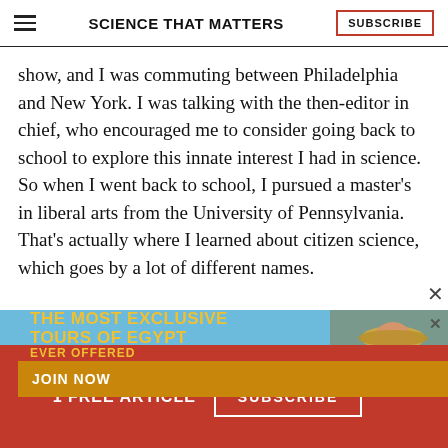SCIENCE THAT MATTERS
show, and I was commuting between Philadelphia and New York. I was talking with the then-editor in chief, who encouraged me to consider going back to school to explore this innate interest I had in science. So when I went back to school, I pursued a master’s in liberal arts from the University of Pennsylvania. That’s actually where I learned about citizen science, which goes by a lot of different names.
[Figure (infographic): Advertisement banner: 'THE MOST EXCLUSIVE TOURS OF EGYPT EVER OFFERED' with a yellow-gold 'JOIN NOW' button and a photo of a man in a hat on a blue/sky background.]
1 FREE ARTICLE  SUBSCRIBE